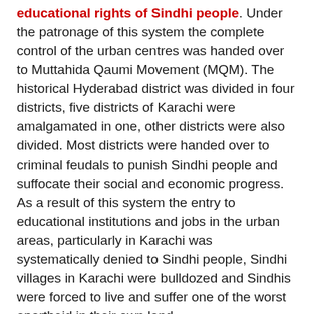educational rights of Sindhi people. Under the patronage of this system the complete control of the urban centres was handed over to Muttahida Qaumi Movement (MQM). The historical Hyderabad district was divided in four districts, five districts of Karachi were amalgamated in one, other districts were also divided. Most districts were handed over to criminal feudals to punish Sindhi people and suffocate their social and economic progress. As a result of this system the entry to educational institutions and jobs in the urban areas, particularly in Karachi was systematically denied to Sindhi people, Sindhi villages in Karachi were bulldozed and Sindhis were forced to live and suffer one of the worst apartheid in their own land.
The first thing that all Sindhi people hoped and demanded from Peoples Party was to abandon the draconian local government system when they came in power on the almost unanimous vote of Sindhi people. Unfortunately Peoples Party failed to deliver for three and half years on this issue of utmost